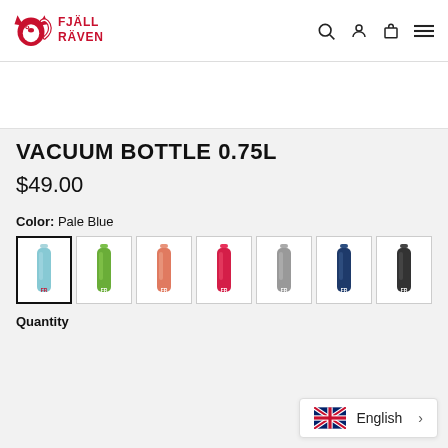Fjällräven header with logo and navigation icons
[Figure (photo): White product image area (partially visible product photo)]
VACUUM BOTTLE 0.75L
$49.00
Color: Pale Blue
[Figure (other): Seven color swatches for vacuum bottle: Pale Blue (selected), Green, Salmon/Coral, Pink/Red, Gray, Dark Blue, Dark Gray/Black]
Quantity
English